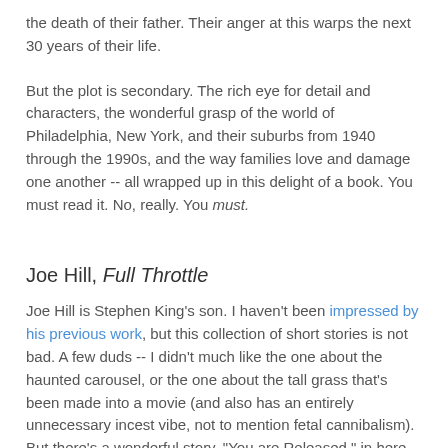the death of their father. Their anger at this warps the next 30 years of their life.
But the plot is secondary. The rich eye for detail and characters, the wonderful grasp of the world of Philadelphia, New York, and their suburbs from 1940 through the 1990s, and the way families love and damage one another -- all wrapped up in this delight of a book. You must read it. No, really. You must.
Joe Hill, Full Throttle
Joe Hill is Stephen King's son. I haven't been impressed by his previous work, but this collection of short stories is not bad. A few duds -- I didn't much like the one about the haunted carousel, or the one about the tall grass that's been made into a movie (and also has an entirely unnecessary incest vibe, not to mention fetal cannibalism). But there's a wonderful story, "You are Released," in here, and a couple other very good ones.